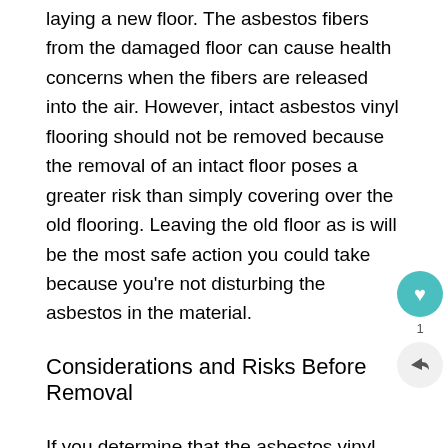laying a new floor. The asbestos fibers from the damaged floor can cause health concerns when the fibers are released into the air. However, intact asbestos vinyl flooring should not be removed because the removal of an intact floor poses a greater risk than simply covering over the old flooring. Leaving the old floor as is will be the most safe action you could take because you’re not disturbing the asbestos in the material.
Considerations and Risks Before Removal
If you determine that the asbestos vinyl flooring must be removed, asbestos abatement contractors are highly recommended. Homeowners living in a single family home may also remove the asbestos